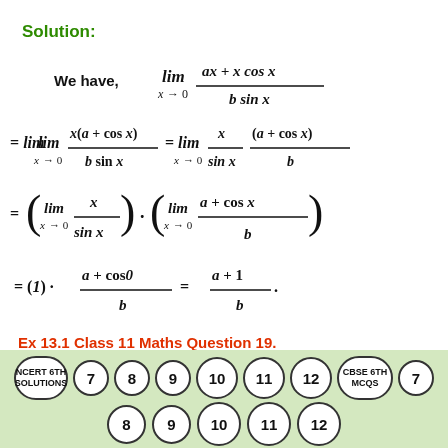Solution:
Ex 13.1 Class 11 Maths Question 19.
lim x sec x